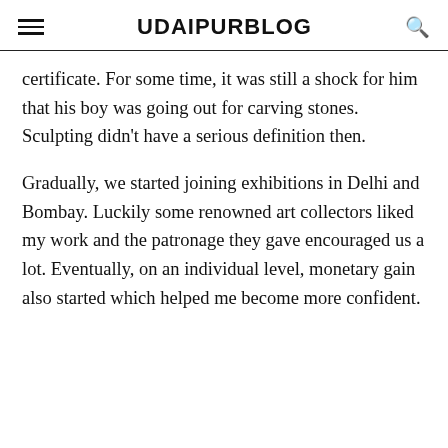UDAIPURBLOG
certificate. For some time, it was still a shock for him that his boy was going out for carving stones. Sculpting didn't have a serious definition then.
Gradually, we started joining exhibitions in Delhi and Bombay. Luckily some renowned art collectors liked my work and the patronage they gave encouraged us a lot. Eventually, on an individual level, monetary gain also started which helped me become more confident.